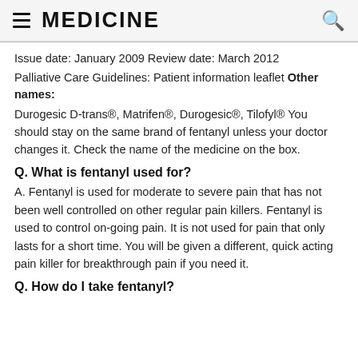MEDICINE
Issue date: January 2009 Review date: March 2012
Palliative Care Guidelines: Patient information leaflet Other names:
Durogesic D-trans®, Matrifen®, Durogesic®, Tilofyl® You should stay on the same brand of fentanyl unless your doctor changes it. Check the name of the medicine on the box.
Q. What is fentanyl used for?
A. Fentanyl is used for moderate to severe pain that has not been well controlled on other regular pain killers. Fentanyl is used to control on-going pain. It is not used for pain that only lasts for a short time. You will be given a different, quick acting pain killer for breakthrough pain if you need it.
Q. How do I take fentanyl?